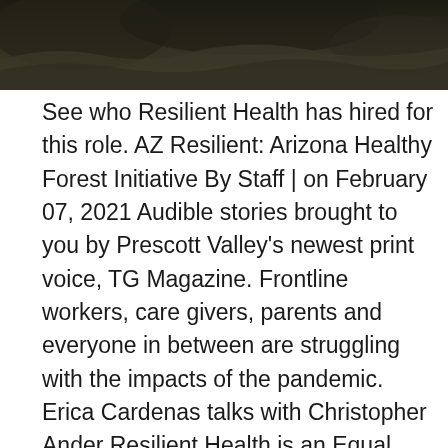[Figure (photo): Outdoor rocky landscape photo, dark tones, showing rocky cliff or boulder surface]
See who Resilient Health has hired for this role. AZ Resilient: Arizona Healthy Forest Initiative By Staff | on February 07, 2021 Audible stories brought to you by Prescott Valley's newest print voice, TG Magazine. Frontline workers, care givers, parents and everyone in between are struggling with the impacts of the pandemic. Erica Cardenas talks with Christopher Ander Resilient Health is an Equal Employment Opportunity employer and is dedicated to the principles of equal employment opportunity. Resilient Health will make reasonable accommodation for qualified individuals with known disabilities and for employees whose work requirements interfere with a religious belief. Easy 1-Click Apply (RESILIENT HEALTH) Co-Occurring